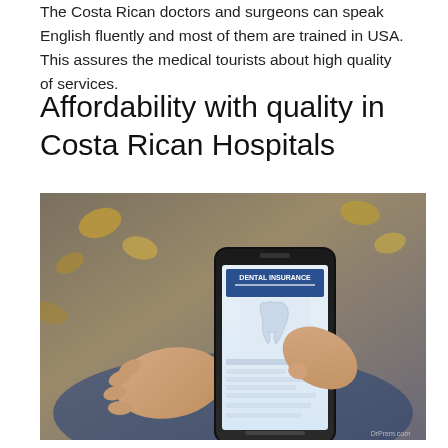The Costa Rican doctors and surgeons can speak English fluently and most of them are trained in USA. This assures the medical tourists about high quality of services.
Affordability with quality in Costa Rican Hospitals
[Figure (photo): Person holding a smartphone displaying a 'Dental Insurance' form, with autumn leaves visible in the background. DrPrem.com watermark visible.]